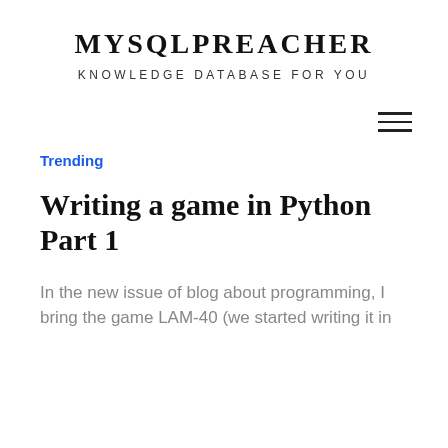MYSQLPREACHER
KNOWLEDGE DATABASE FOR YOU
Trending
Writing a game in Python Part 1
In the new issue of blog about programming, I bring the game LAM-40 (we started writing it in